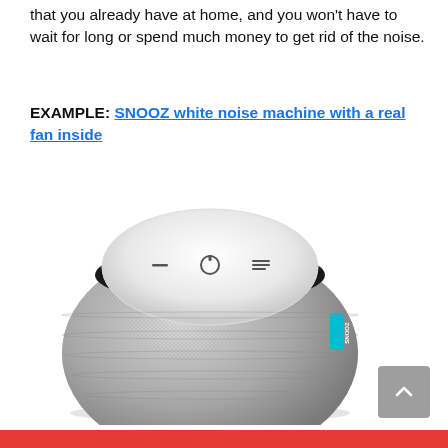that you already have at home, and you won't have to wait for long or spend much money to get rid of the noise.
EXAMPLE: SNOOZ white noise machine with a real fan inside
[Figure (photo): Photo of the SNOOZ white noise machine — a round, fabric-covered device with a white top panel featuring three control buttons, and a small teal brand tag on the side.]
[Figure (other): Gray scroll-to-top button with upward chevron arrow in bottom right corner.]
Red bar at the bottom of the page (partial, cropped).